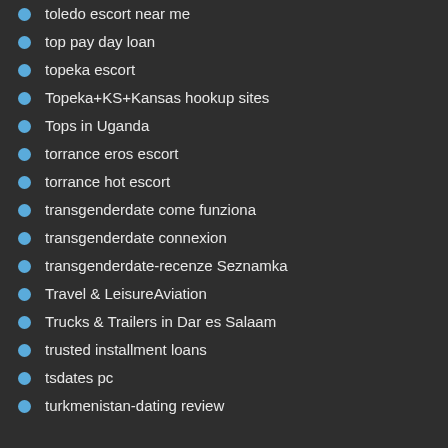toledo escort near me
top pay day loan
topeka escort
Topeka+KS+Kansas hookup sites
Tops in Uganda
torrance eros escort
torrance hot escort
transgenderdate come funziona
transgenderdate connexion
transgenderdate-recenze Seznamka
Travel & LeisureAviation
Trucks & Trailers in Dar es Salaam
trusted installment loans
tsdates pc
turkmenistan-dating review